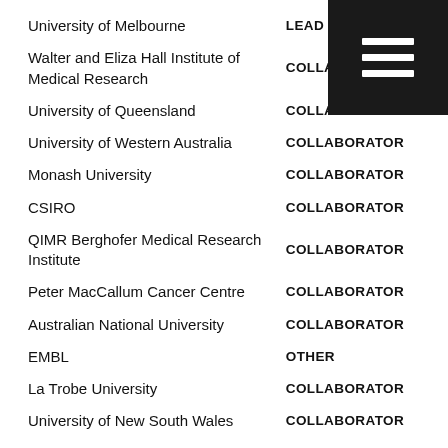| Institution | Role |
| --- | --- |
| University of Melbourne | LEAD INSTITUTE |
| Walter and Eliza Hall Institute of Medical Research | COLLABORATOR |
| University of Queensland | COLLABORATOR |
| University of Western Australia | COLLABORATOR |
| Monash University | COLLABORATOR |
| CSIRO | COLLABORATOR |
| QIMR Berghofer Medical Research Institute | COLLABORATOR |
| Peter MacCallum Cancer Centre | COLLABORATOR |
| Australian National University | COLLABORATOR |
| EMBL | OTHER |
| La Trobe University | COLLABORATOR |
| University of New South Wales | COLLABORATOR |
| National Institutes of Health | OTHER |
| Australian Centre for Plant | COLLABORATOR |